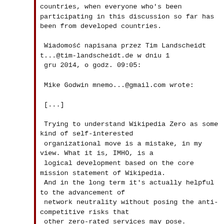countries, when everyone who's been participating in this discussion so far has been from developed countries.
Wiadomość napisana przez Tim Landscheidt t...@tim-landscheidt.de w dniu 1 gru 2014, o godz. 09:05:
Mike Godwin mnemo...@gmail.com wrote:
[...]
Trying to understand Wikipedia Zero as some kind of self-interested organizational move is a mistake, in my view. What it is, IMHO, is a logical development based on the core mission statement of Wikipedia. And in the long term it's actually helpful to the advancement of network neutrality without posing the anti-competitive risks that other zero-rated services may pose.